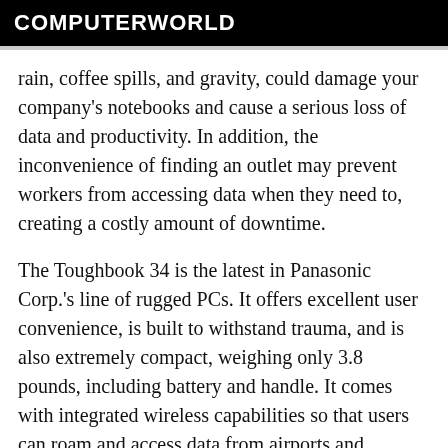COMPUTERWORLD
rain, coffee spills, and gravity, could damage your company's notebooks and cause a serious loss of data and productivity. In addition, the inconvenience of finding an outlet may prevent workers from accessing data when they need to, creating a costly amount of downtime.
The Toughbook 34 is the latest in Panasonic Corp.'s line of rugged PCs. It offers excellent user convenience, is built to withstand trauma, and is also extremely compact, weighing only 3.8 pounds, including battery and handle. It comes with integrated wireless capabilities so that users can roam and access data from airports and conferences without